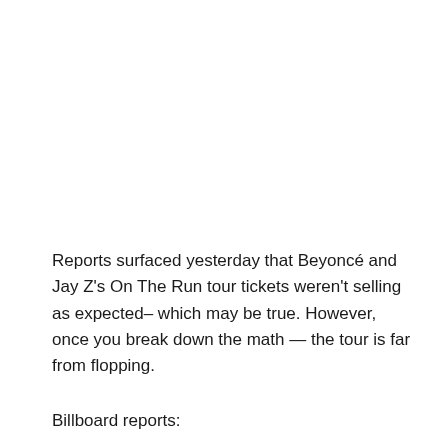Reports surfaced yesterday that Beyoncé and Jay Z's On The Run tour tickets weren't selling as expected– which may be true. However, once you break down the math — the tour is far from flopping.
Billboard reports: